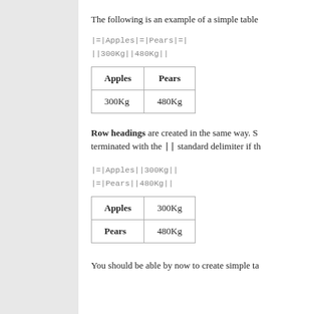The following is an example of a simple table
|=|Apples|=|Pears|=|
||300Kg||480Kg||
| Apples | Pears |
| --- | --- |
| 300Kg | 480Kg |
Row headings are created in the same way. S... terminated with the || standard delimiter if th...
|=|Apples||300Kg||
|=|Pears||480Kg||
| Apples | 300Kg |
| Pears | 480Kg |
You should be able by now to create simple ta